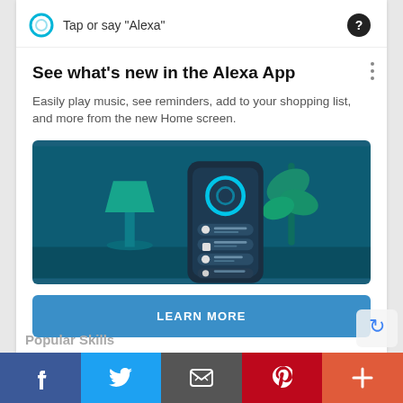Tap or say "Alexa"
See what's new in the Alexa App
Easily play music, see reminders, add to your shopping list, and more from the new Home screen.
[Figure (illustration): Illustration of a hand holding a smartphone showing the Alexa app home screen with Alexa ring icon and list items, set against a teal background with a lamp and plant.]
LEARN MORE
Popular Skills
f  Twitter  Email  Pinterest  +